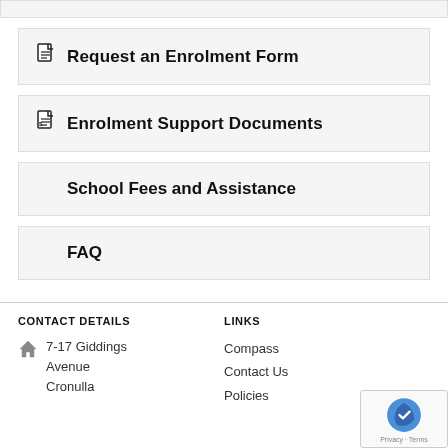Request an Enrolment Form
Enrolment Support Documents
School Fees and Assistance
FAQ
CONTACT DETAILS | LINKS | 7-17 Giddings Avenue | Cronulla | Compass | Contact Us | Policies